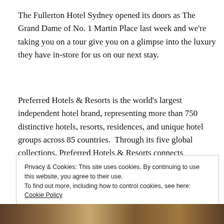The Fullerton Hotel Sydney opened its doors as The Grand Dame of No. 1 Martin Place last week and we're taking you on a tour give you on a glimpse into the luxury they have in-store for us on our next stay.
Preferred Hotels & Resorts is the world's largest independent hotel brand, representing more than 750 distinctive hotels, resorts, residences, and unique hotel groups across 85 countries.  Through its five global collections, Preferred Hotels & Resorts connects discerning travelers to the singular luxury hospitality experience that
Privacy & Cookies: This site uses cookies. By continuing to use this website, you agree to their use.
To find out more, including how to control cookies, see here: Cookie Policy
Close and accept
[Figure (photo): Photo strip at the bottom of the page showing an ornate hotel interior with architectural details]